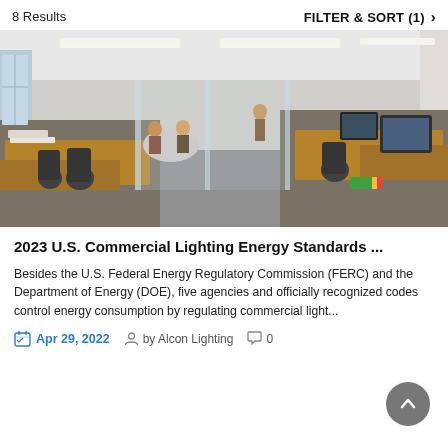8 Results    FILTER & SORT (1) >
[Figure (photo): Interior office photo showing open workspace with wooden desks, ergonomic chairs, glass-walled conference rooms with people meeting inside, and overhead linear LED lighting.]
2023 U.S. Commercial Lighting Energy Standards ...
Besides the U.S. Federal Energy Regulatory Commission (FERC) and the Department of Energy (DOE), five agencies and officially recognized codes control energy consumption by regulating commercial light...
Apr 29, 2022   by Alcon Lighting   0